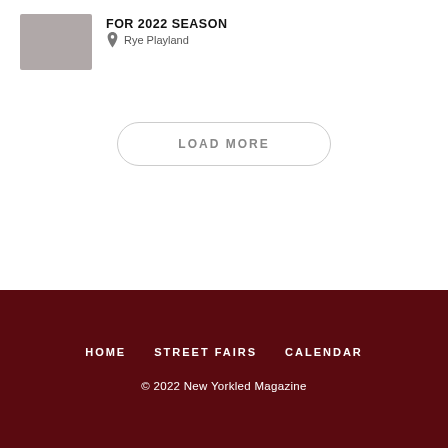FOR 2022 SEASON
Rye Playland
LOAD MORE
HOME   STREET FAIRS   CALENDAR
© 2022 New Yorkled Magazine